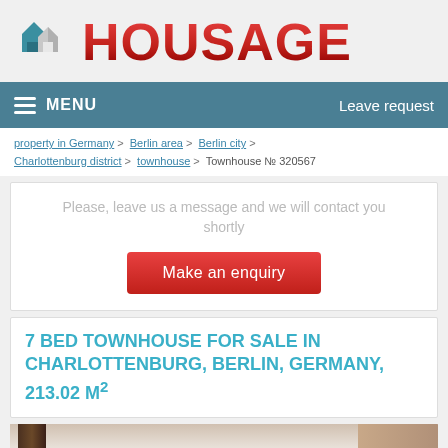[Figure (logo): Housage real estate logo with house icon and red text HOUSAGE]
MENU   Leave request
property in Germany > Berlin area > Berlin city > Charlottenburg district > townhouse > Townhouse № 320567
Please, leave us a message and we will contact you shortly
Make an enquiry
7 BED TOWNHOUSE FOR SALE IN CHARLOTTENBURG, BERLIN, GERMANY, 213.02 M²
[Figure (photo): Interior photo of townhouse showing door and hallway]